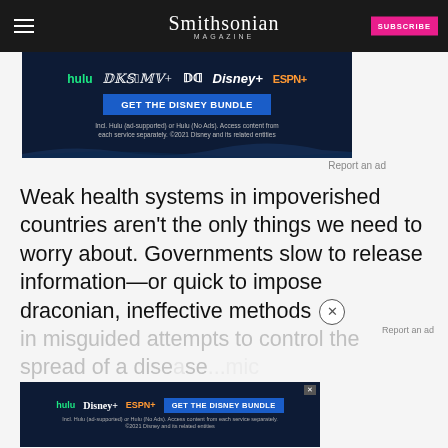Smithsonian MAGAZINE
[Figure (screenshot): Disney Bundle advertisement banner (Hulu, Disney+, ESPN+) on dark navy background with GET THE DISNEY BUNDLE button]
Report an ad
Weak health systems in impoverished countries aren’t the only things we need to worry about. Governments slow to release information—or quick to impose draconian, ineffective methods in misguided attempts to control the spread of a disease...mic response.